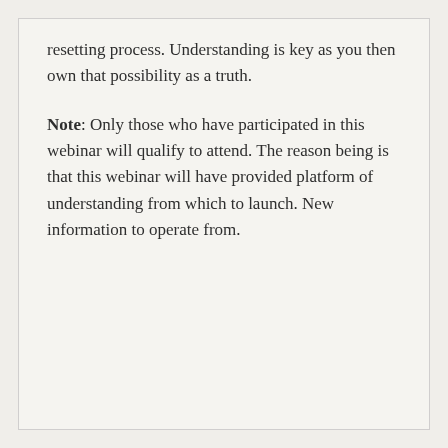resetting process. Understanding is key as you then own that possibility as a truth.
Note: Only those who have participated in this webinar will qualify to attend. The reason being is that this webinar will have provided platform of understanding from which to launch. New information to operate from.